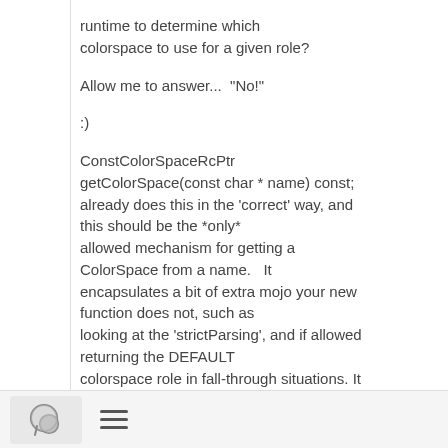runtime to determine which colorspace to use for a given role?
Allow me to answer...  "No!"
:)
ConstColorSpaceRcPtr getColorSpace(const char * name) const; already does this in the 'correct' way, and this should be the *only* allowed mechanism for getting a ColorSpace from a name.   It encapsulates a bit of extra mojo your new function does not, such as looking at the 'strictParsing', and if allowed returning the DEFAULT colorspace role in fall-through situations. It also resolves the ambiguity where a role name and
[Figure (other): Bottom toolbar with chat icon button and hamburger menu icon]